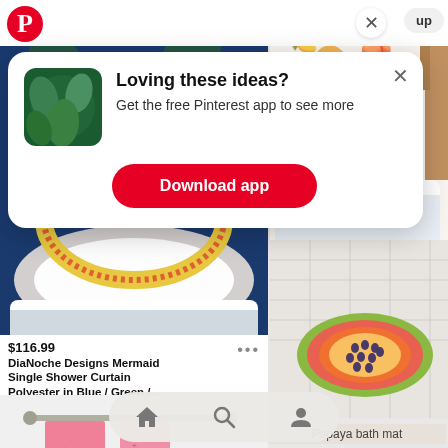[Figure (screenshot): Pinterest app screenshot showing product grid with shower curtain and papaya bath mat, overlaid with a modal popup prompting users to download the Pinterest app.]
Loving these ideas?
Get the free Pinterest app to see more
Download app
$116.99
DiaNoche Designs Mermaid Single Shower Curtain Polyester in Blue / Green /...
Wayfair
Papaya bath mat